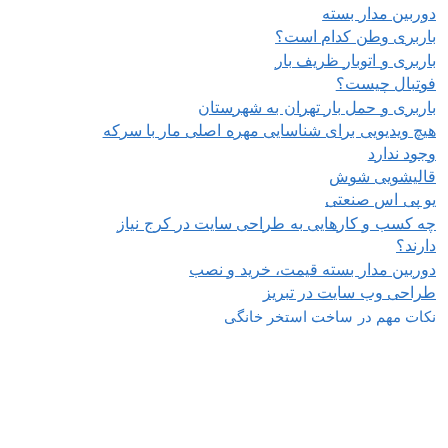دوربین مدار بسته
باربری وطن کدام است؟
باربری و اتوبار ظریف بار
فوتبال چیست؟
باربری و حمل بار تهران به شهرستان
هیچ ویدیویی برای شناسایی مهره اصلی مار با سرکه وجود ندارد
قالیشویی شوش
یو پی اس صنعتی
چه کسب و کارهایی به طراحی سایت در کرج نیاز دارند؟
دوربین مدار بسته قیمت، خرید و نصب
طراحی وب سایت در تبریز
نکات مهم در ساخت استخر خانگی